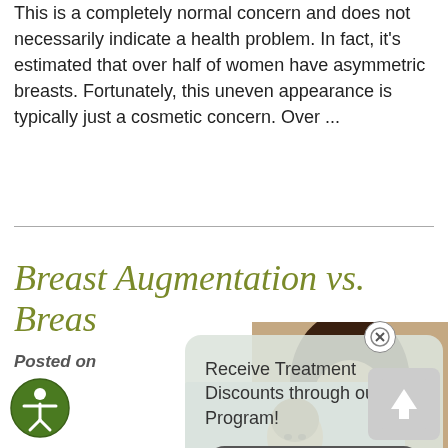This is a completely normal concern and does not necessarily indicate a health problem. In fact, it's estimated that over half of women have asymmetric breasts. Fortunately, this uneven appearance is typically just a cosmetic concern. Over ...
Breast Augmentation vs. Breas...
Posted on
[Figure (screenshot): Popup modal with light green background offering 'Receive Treatment Discounts through our VIP Program!' with a 'Learn More →' button and a close (X) button]
[Figure (photo): Woman with long dark hair smiling, wearing jewelry, on the right side]
[Figure (photo): Woman in bikini top smiling, at the bottom center]
[Figure (illustration): Accessibility icon - circular green icon with person symbol]
[Figure (infographic): Back-to-top button with upward arrow on light gray rounded square background]